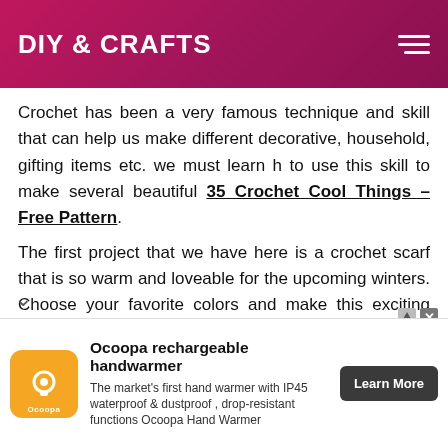DIY & CRAFTS
Crochet has been a very famous technique and skill that can help us make different decorative, household, gifting items etc. we must learn h to use this skill to make several beautiful 35 Crochet Cool Things – Free Pattern.
The first project that we have here is a crochet scarf that is so warm and loveable for the upcoming winters. Choose your favorite colors and make this exciting stylish crochet scarf. Have a look at these adorable crochet doughnuts made with pure love that you can decorate or
[Figure (other): Advertisement banner for Ocoopa rechargeable handwarmer with orange logo, text description, and Learn More button]